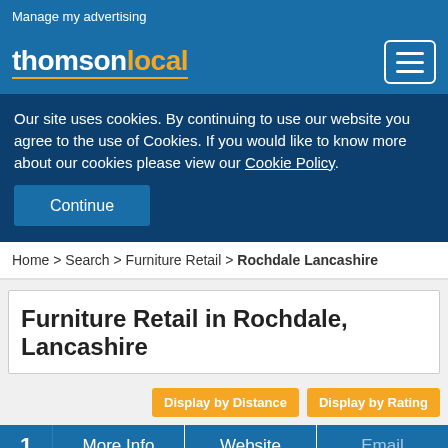Manage my advertising
[Figure (logo): Thomson Local logo with hamburger menu icon]
Our site uses cookies. By continuing to use our website you agree to the use of Cookies. If you would like to know more about our cookies please view our Cookie Policy.
Continue
Home > Search > Furniture Retail > Rochdale Lancashire
Furniture Retail in Rochdale, Lancashire
Display by Distance   Display by Rating
1   More Info   Website   Email
Harmin
Local Furniture - Retail in Rochdale, Lancashire